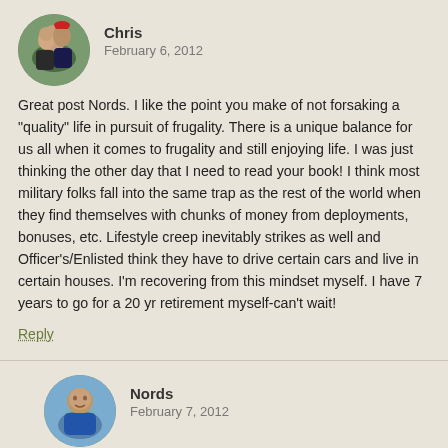[Figure (photo): Circular avatar photo of Chris, showing two people outdoors]
Chris
February 6, 2012
Great post Nords. I like the point you make of not forsaking a "quality" life in pursuit of frugality. There is a unique balance for us all when it comes to frugality and still enjoying life. I was just thinking the other day that I need to read your book! I think most military folks fall into the same trap as the rest of the world when they find themselves with chunks of money from deployments, bonuses, etc. Lifestyle creep inevitably strikes as well and Officer's/Enlisted think they have to drive certain cars and live in certain houses. I'm recovering from this mindset myself. I have 7 years to go for a 20 yr retirement myself-can't wait!
Reply
[Figure (photo): Circular avatar photo of Nords, a man in a blue jacket near water]
Nords
February 7, 2012
A shameless (frugal) plug:
1. Check WorldCat.org for the book at a library near you. Dozens of readers have been donating. I've handed out copies to Oahu public libraries and Oahu's military base libraries are getting their copies this week.